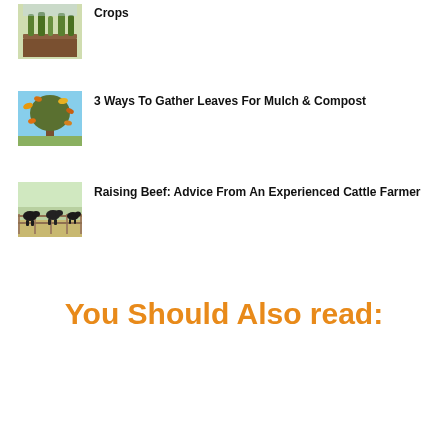[Figure (photo): Garden raised bed with crops/seedlings]
Crops
[Figure (photo): Person throwing autumn leaves in the air among trees]
3 Ways To Gather Leaves For Mulch & Compost
[Figure (photo): Group of black cattle standing in a field behind a fence]
Raising Beef: Advice From An Experienced Cattle Farmer
You Should Also read: